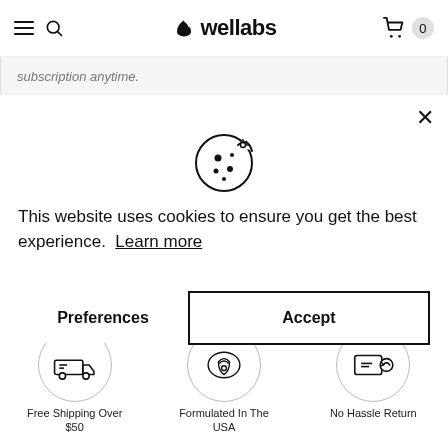wellabs
subscription anytime.
[Figure (illustration): Cookie icon — a circular cookie with bite taken out, showing chocolate chip spots]
This website uses cookies to ensure you get the best experience. Learn more
Preferences   Accept
[Figure (illustration): Free Shipping Over $50 icon in circle]
Free Shipping Over $50
[Figure (illustration): Formulated In The USA icon in circle]
Formulated In The USA
[Figure (illustration): No Hassle Return icon in circle]
No Hassle Return